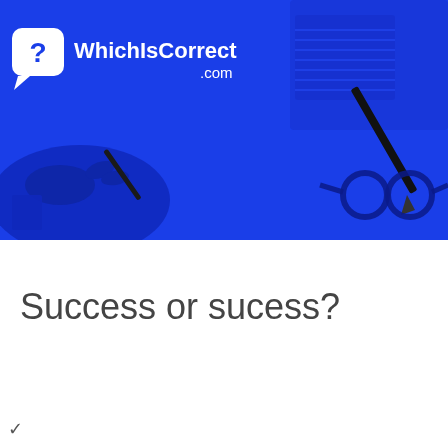[Figure (illustration): WhichIsCorrect.com website banner with blue background showing a hand writing with a pen, a notebook/ruled paper, and glasses. White logo with speech bubble containing a question mark and site name WhichIsCorrect .com in white text.]
Success or sucess?